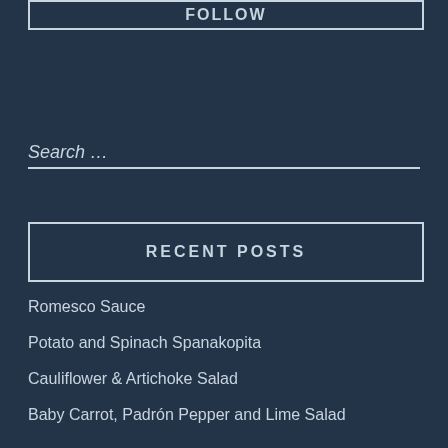FOLLOW
Search …
RECENT POSTS
Romesco Sauce
Potato and Spinach Spanakopita
Cauliflower & Artichoke Salad
Baby Carrot, Padrón Pepper and Lime Salad